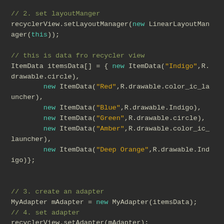// 2. set layoutManger
recyclerView.setLayoutManager(new LinearLayoutManager(this));

// this is data fro recycler view
ItemData itemsData[] = { new ItemData("Indigo",R.drawable.circle),
        new ItemData("Red",R.drawable.color_ic_launcher),
        new ItemData("Blue",R.drawable.Indigo),
        new ItemData("Green",R.drawable.circle),
        new ItemData("Amber",R.drawable.color_ic_launcher),
        new ItemData("Deep Orange",R.drawable.Indigo)};


// 3. create an adapter
MyAdapter mAdapter = new MyAdapter(itemsData);
// 4. set adapter
recyclerView.setAdapter(mAdapter);